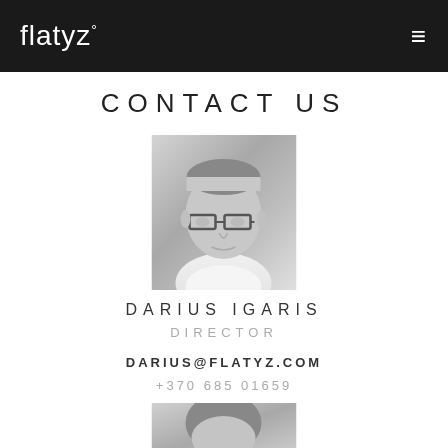flatyz°
CONTACT US
[Figure (photo): Black and white headshot photo of Darius Igaris, a middle-aged man with glasses wearing a white shirt]
DARIUS IGARIS
DIRECTOR
DARIUS@FLATYZ.COM
+370 685 01659
[Figure (photo): Black and white headshot photo of a second person (partial, cropped at bottom of page)]